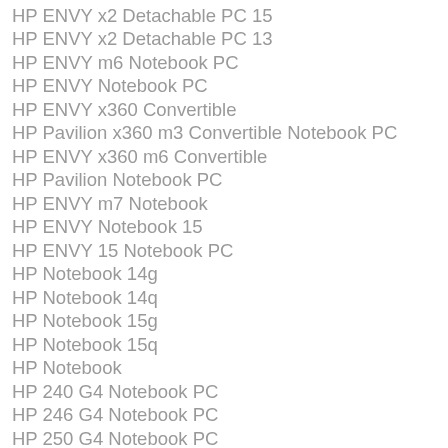HP ENVY x2 Detachable PC 15
HP ENVY x2 Detachable PC 13
HP ENVY m6 Notebook PC
HP ENVY Notebook PC
HP ENVY x360 Convertible
HP Pavilion x360 m3 Convertible Notebook PC
HP ENVY x360 m6 Convertible
HP Pavilion Notebook PC
HP ENVY m7 Notebook
HP ENVY Notebook 15
HP ENVY 15 Notebook PC
HP Notebook 14g
HP Notebook 14q
HP Notebook 15g
HP Notebook 15q
HP Notebook
HP 240 G4 Notebook PC
HP 246 G4 Notebook PC
HP 250 G4 Notebook PC
HP 256 G4 Notebook PC
HP 245 G4 Notebook PC
HP 255 G4 Notebook PC